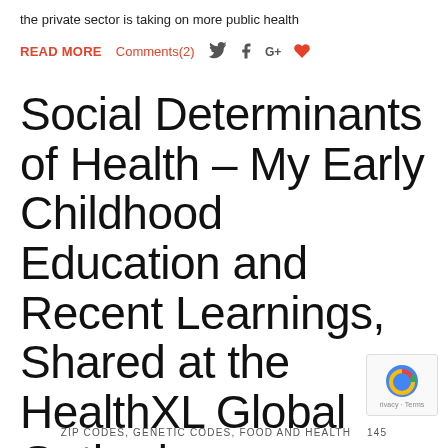the private sector is taking on more public health
READ MORE   Comments(2)
Social Determinants of Health – My Early Childhood Education and Recent Learnings, Shared at the HealthXL Global Gathering
ZIP CODES, GENETIC CODES, FOOD AND HEALTH   145